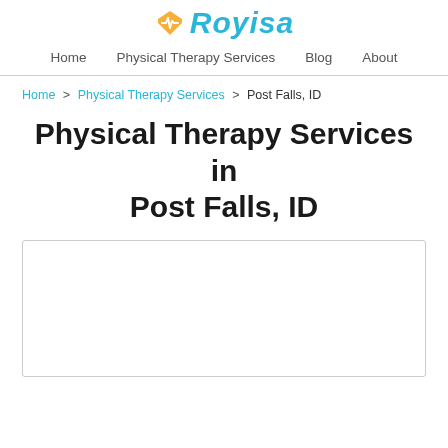Royisa
Home  Physical Therapy Services  Blog  About
Home > Physical Therapy Services > Post Falls, ID
Physical Therapy Services in Post Falls, ID
[Figure (map): Embedded map area showing Post Falls, ID region, bordered box placeholder]